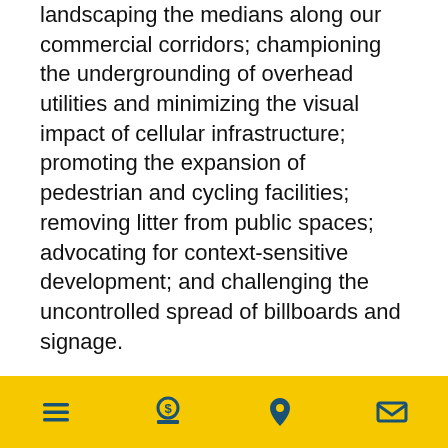landscaping the medians along our commercial corridors; championing the undergrounding of overhead utilities and minimizing the visual impact of cellular infrastructure; promoting the expansion of pedestrian and cycling facilities; removing litter from public spaces; advocating for context-sensitive development; and challenging the uncontrolled spread of billboards and signage.
These steps will enhance our environmental and economic progress, including tourism, while promoting health and quality of life.
Together, We Can Make it